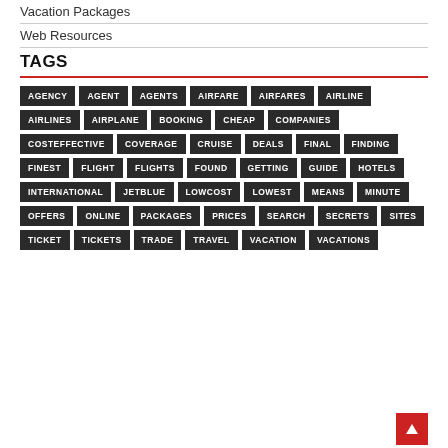Vacation Packages
Web Resources
TAGS
AGENCY AGENT AGENTS AIRFARE AIRFARES AIRLINE AIRLINES AIRPLANE BOOKING CHEAP COMPANIES COSTEFFECTIVE COVERAGE CRUISE DEALS FINAL FINDING FINEST FLIGHT FLIGHTS FOUND GETTING GUIDE HOTELS INTERNATIONAL JETBLUE LOWCOST LOWEST MEANS MINUTE OFFERS ONLINE PACKAGES PRICES SEARCH SECRETS SITES TICKET TICKETS TRADE TRAVEL VACATION VACATIONS